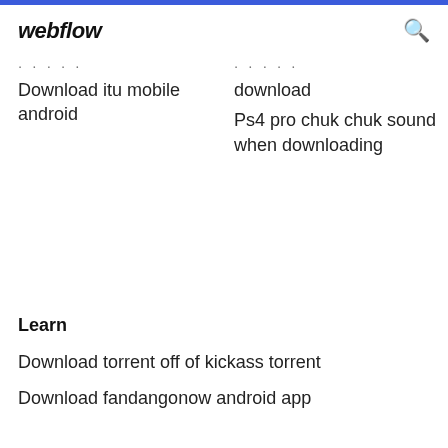webflow
Download itu mobile android
download
Ps4 pro chuk chuk sound when downloading
Learn
Download torrent off of kickass torrent
Download fandangonow android app